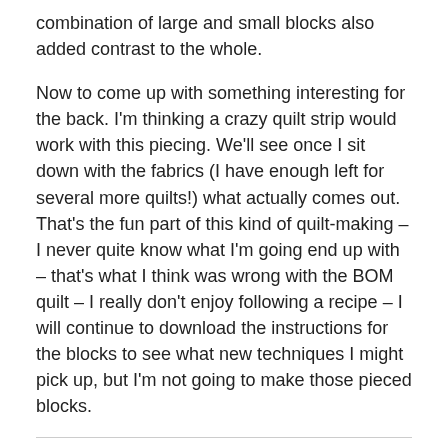combination of large and small blocks also added contrast to the whole.
Now to come up with something interesting for the back. I'm thinking a crazy quilt strip would work with this piecing. We'll see once I sit down with the fabrics (I have enough left for several more quilts!) what actually comes out. That's the fun part of this kind of quilt-making – I never quite know what I'm going end up with – that's what I think was wrong with the BOM quilt – I really don't enjoy following a recipe – I will continue to download the instructions for the blocks to see what new techniques I might pick up, but I'm not going to make those pieced blocks.
Share this: